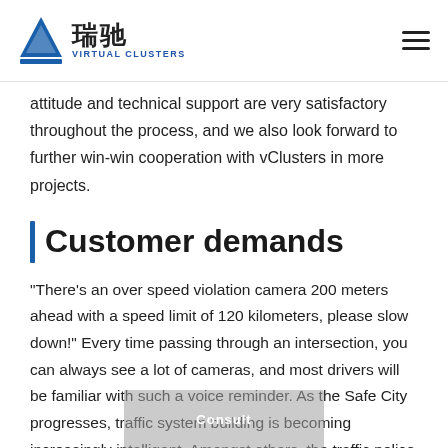瑞驰 VIRTUAL CLUSTERS
attitude and technical support are very satisfactory throughout the process, and we also look forward to further win-win cooperation with vClusters in more projects.
Customer demands
"There's an over speed violation camera 200 meters ahead with a speed limit of 120 kilometers, please slow down!" Every time passing through an intersection, you can always see a lot of cameras, and most drivers will be familiar with such a voice reminder. As the Safe City progresses, traffic system building is becoming increasingly intelligent. Amongst others, the traffic police bayonets play a very important role. They assume important tasks in vehicle behavior monitoring and also in easing traffic congestion, improving road traffic efficiency, and